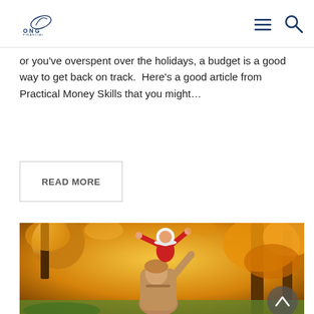ONG Financial logo with hamburger menu and search icons
or you've overspent over the holidays, a budget is a good way to get back on track.  Here's a good article from Practical Money Skills that you might…
READ MORE
[Figure (photo): A smiling mother lifting a young toddler in a red outfit and white hat onto her shoulders, in a park with golden autumn foliage trees in warm sunlight]